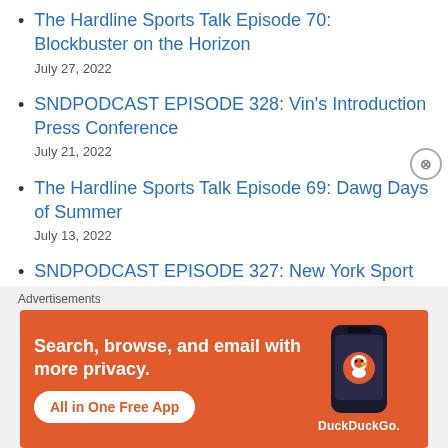The Hardline Sports Talk Episode 70: Blockbuster on the Horizon
July 27, 2022
SNDPODCAST EPISODE 328: Vin's Introduction Press Conference
July 21, 2022
The Hardline Sports Talk Episode 69: Dawg Days of Summer
July 13, 2022
SNDPODCAST EPISODE 327: New York Sport Update
Advertisements
[Figure (infographic): DuckDuckGo advertisement banner on orange background. Text reads: Search, browse, and email with more privacy. All in One Free App. Shows a dark smartphone with DuckDuckGo logo and branding.]